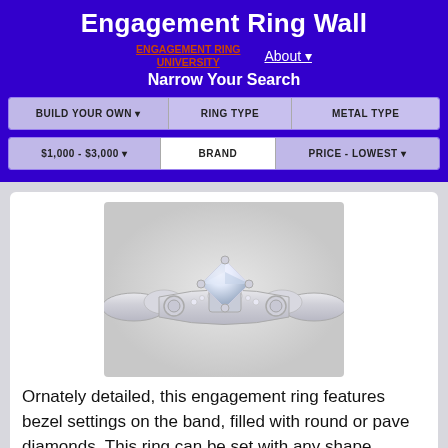Engagement Ring Wall
[Figure (logo): Engagement Ring University logo text in red/orange with underline]
About ▾
Narrow Your Search
BUILD YOUR OWN ▾   RING TYPE   METAL TYPE
$1,000 - $3,000 ▾   BRAND   PRICE - LOWEST ▾
[Figure (photo): A white gold engagement ring with bezel settings on the band filled with round or pave diamonds and a princess cut diamond in the center, displayed on a light gray background]
Ornately detailed, this engagement ring features bezel settings on the band, filled with round or pave diamonds. This ring can be set with any shape diamond in the center.